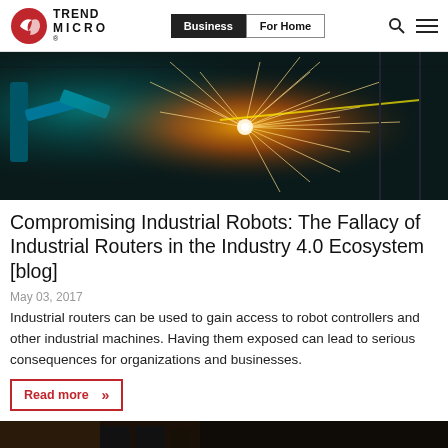Trend Micro | Business | For Home
[Figure (photo): Industrial robot arm welding with sparks flying in a factory setting, dark background with teal and orange tones]
Compromising Industrial Robots: The Fallacy of Industrial Routers in the Industry 4.0 Ecosystem [blog]
May 03, 2017
Industrial routers can be used to gain access to robot controllers and other industrial machines. Having them exposed can lead to serious consequences for organizations and businesses.
Read more »
[Figure (photo): Partial view of a dark interior scene, bottom strip of the page]